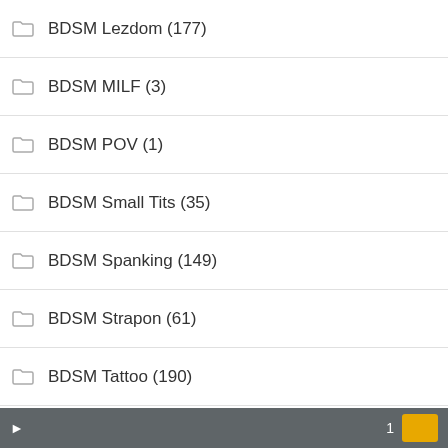BDSM Lezdom (177)
BDSM MILF (3)
BDSM POV (1)
BDSM Small Tits (35)
BDSM Spanking (149)
BDSM Strapon (61)
BDSM Tattoo (190)
BDSM Uniform (3)
Big Dildos (5)
Big Pussy (30)
Blow Jobs (113)
Bondage (509)
Bondage Hood (2)
1